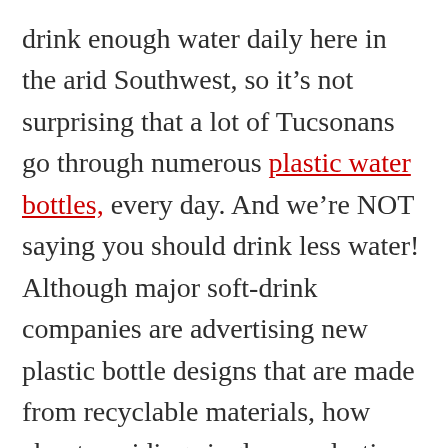drink enough water daily here in the arid Southwest, so it's not surprising that a lot of Tucsonans go through numerous plastic water bottles, every day. And we're NOT saying you should drink less water! Although major soft-drink companies are advertising new plastic bottle designs that are made from recyclable materials, how about avoiding single-use plastic bottles altogether? You can buy your own reusable bottle and carry it with you everywhere, but if you forget and need to buy some water, how about buying it in an ALUMINUM bottle or can? You can try one at the Reid